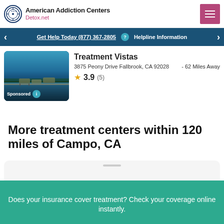[Figure (logo): American Addiction Centers Detox.net logo with circular emblem and pink/magenta subtitle]
Get Help Today (877) 367-2805  Helpline Information
Treatment Vistas
3875 Peony Drive Fallbrook, CA 92028 - 62 Miles Away
3.9 (5)
More treatment centers within 120 miles of Campo, CA
Does your insurance cover treatment? Check your coverage online instantly.